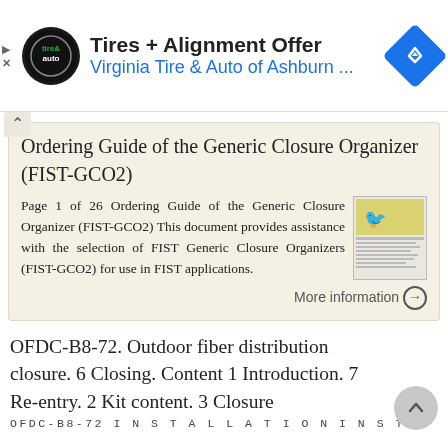[Figure (screenshot): Advertisement banner for Virginia Tire & Auto of Ashburn featuring logo, title 'Tires + Alignment Offer', subtitle 'Virginia Tire & Auto of Ashburn ...', and a blue navigation diamond icon. Ad controls (play/close) on left.]
Ordering Guide of the Generic Closure Organizer (FIST-GCO2)
Page 1 of 26 Ordering Guide of the Generic Closure Organizer (FIST-GCO2) This document provides assistance with the selection of FIST Generic Closure Organizers (FIST-GCO2) for use in FIST applications.
More information →
OFDC-B8-72. Outdoor fiber distribution closure. 6 Closing. Content 1 Introduction. 7 Re-entry. 2 Kit content. 3 Closure
OFDC-B8-72 I N S T A L L A T I O N I N S T R